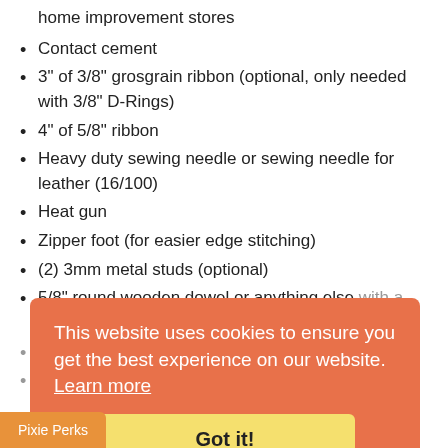home improvement stores
Contact cement
3" of 3/8" grosgrain ribbon (optional, only needed with 3/8" D-Rings)
4" of 5/8" ribbon
Heavy duty sewing needle or sewing needle for leather (16/100)
Heat gun
Zipper foot (for easier edge stitching)
(2) 3mm metal studs (optional)
5/8" round wooden dowel or anything else with a 5/8" diameter, just used for shaping
Rotary cutter, not required but very helpful
Heavy duty scissors or tin snips
This website uses cookies to ensure you get the best experience on our website. Learn more
Got it!
Pixie Perks